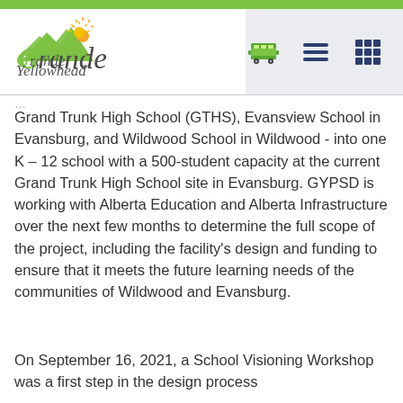[Figure (logo): Grande Yellowhead Public School Division logo - green mountain/sun graphic with text]
Grand Trunk High School (GTHS), Evansview School in Evansburg, and Wildwood School in Wildwood - into one K – 12 school with a 500-student capacity at the current Grand Trunk High School site in Evansburg. GYPSD is working with Alberta Education and Alberta Infrastructure over the next few months to determine the full scope of the project, including the facility's design and funding to ensure that it meets the future learning needs of the communities of Wildwood and Evansburg.
On September 16, 2021, a School Visioning Workshop was a first step in the design process